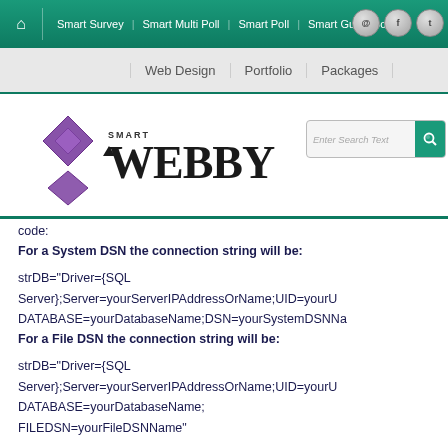Smart Survey | Smart Multi Poll | Smart Poll | Smart Guest Book
Web Design | Portfolio | Packages
[Figure (logo): Smart Webby logo with purple diamond icon and SMART WEBBY text]
code:
For a System DSN the connection string will be:
strDB="Driver={SQL Server};Server=yourServerIPAddressOrName;UID=yourU DATABASE=yourDatabaseName;DSN=yourSystemDSNNa
For a File DSN the connection string will be:
strDB="Driver={SQL Server};Server=yourServerIPAddressOrName;UID=yourU DATABASE=yourDatabaseName;
FILEDSN=yourFileDSNName"